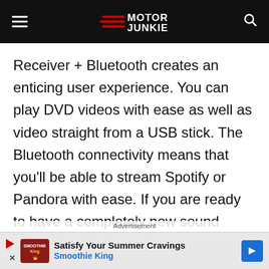Motor Junkie
Receiver + Bluetooth creates an enticing user experience. You can play DVD videos with ease as well as video straight from a USB stick. The Bluetooth connectivity means that you'll be able to stream Spotify or Pandora with ease. If you are ready to have a completely new sound system in your car, check out the Pioneer Multimedia
Advertisement
Satisfy Your Summer Cravings Smoothie King